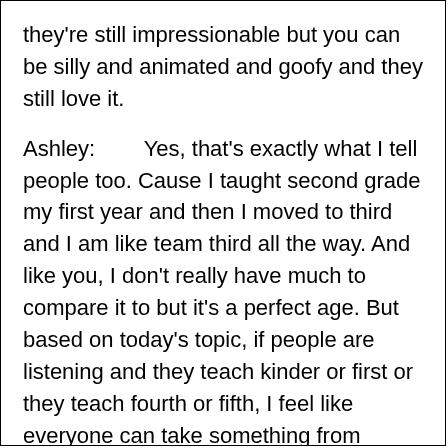they're still impressionable but you can be silly and animated and goofy and they still love it.
Ashley:        Yes, that's exactly what I tell people too. Cause I taught second grade my first year and then I moved to third and I am like team third all the way. And like you, I don't really have much to compare it to but it's a perfect age. But based on today's topic, if people are listening and they teach kinder or first or they teach fourth or fifth, I feel like everyone can take something from today. Do you agree?
Amy:          Absolutely. And I think that